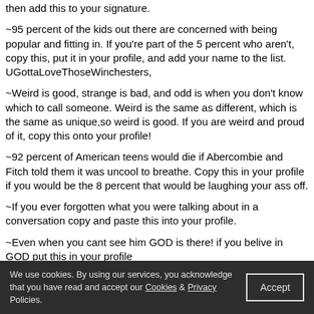then add this to your signature.
~95 percent of the kids out there are concerned with being popular and fitting in. If you're part of the 5 percent who aren't, copy this, put it in your profile, and add your name to the list. UGottaLoveThoseWinchesters,
~Weird is good, strange is bad, and odd is when you don't know which to call someone. Weird is the same as different, which is the same as unique,so weird is good. If you are weird and proud of it, copy this onto your profile!
~92 percent of American teens would die if Abercombie and Fitch told them it was uncool to breathe. Copy this in your profile if you would be the 8 percent that would be laughing your ass off.
~If you ever forgotten what you were talking about in a conversation copy and paste this into your profile.
~Even when you cant see him GOD is there! if you belive in GOD put this in your profile
~Milk tastes good. People call me crazy, but I'm just random! If you're random and proud of it, copy and paste this in your profile!
~If you've ever had a mad laughing fit for no reason, copy and paste this into your profile.
~If you've ever copied and pasted something onto your profile, copy and paste this onto your profile.
We use cookies. By using our services, you acknowledge that you have read and accept our Cookies & Privacy Policies.